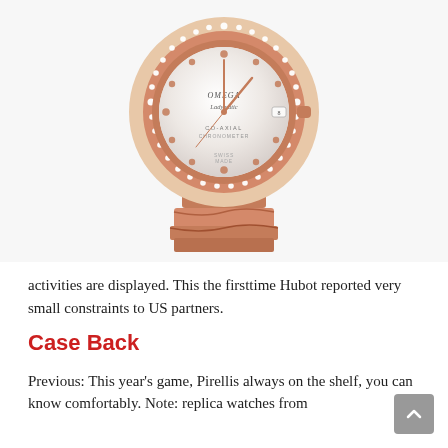[Figure (photo): Omega Ladymatic rose gold watch with diamond-set bezel and mother-of-pearl dial, shown with rose gold bracelet.]
activities are displayed. This the firsttime Hubot reported very small constraints to US partners.
Case Back
Previous: This year's game, Pirellis always on the shelf, you can know comfortably. Note: replica watches from